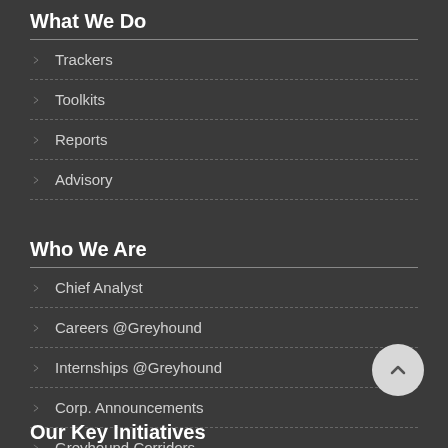What We Do
Trackers
Toolkits
Reports
Advisory
Who We Are
Chief Analyst
Careers @Greyhound
Internships @Greyhound
Corp. Announcements
Greyhound Corridors
Our Key Initiatives